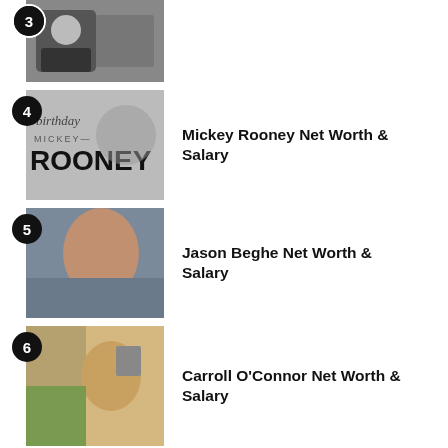3 [image of young boy in suit]
4 Mickey Rooney Net Worth & Salary
5 Jason Beghe Net Worth & Salary
6 Carroll O'Connor Net Worth & Salary
7 Ginger Zee Net Worth & Salary